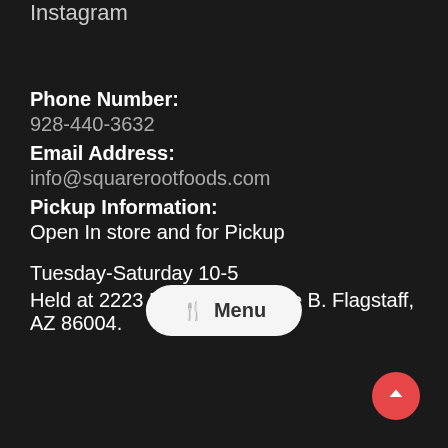Instagram
Phone Number:
928-440-3632
Email Address:
info@squarerootfoods.com
Pickup Information:
Open In store and for Pickup

Tuesday-Saturday 10-5
Held at 2223 E. 7th Ave., Suite B. Flagstaff, AZ 86004.